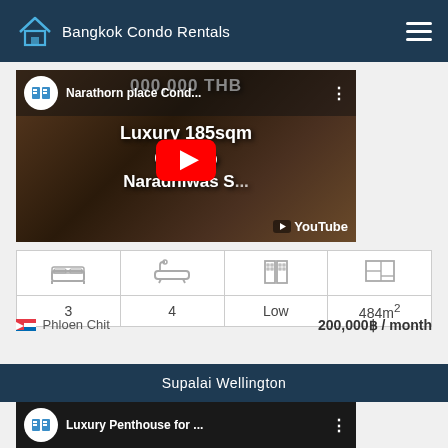Bangkok Condo Rentals
[Figure (screenshot): YouTube video thumbnail for Narathorn place Condo - Luxury 185sqm Condo Naradhiwas listing]
| Bedrooms | Bathrooms | Floor | Size |
| --- | --- | --- | --- |
| 3 | 4 | Low | 484m² |
Phloen Chit   200,000฿ / month
Supalai Wellington
[Figure (screenshot): YouTube video thumbnail for Luxury Penthouse listing]